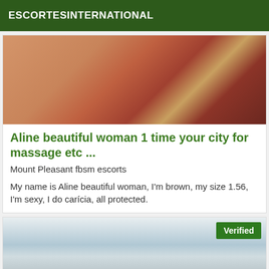ESCORTESINTERNATIONAL
[Figure (photo): Close-up photo of a woman's legs and lower body on colorful fabric/blanket]
Aline beautiful woman 1 time your city for massage etc ...
Mount Pleasant fbsm escorts
My name is Aline beautiful woman, I'm brown, my size 1.56, I'm sexy, I do carícia, all protected.
[Figure (photo): Photo of a man in a snowy mountain landscape with a 'Verified' badge overlay]